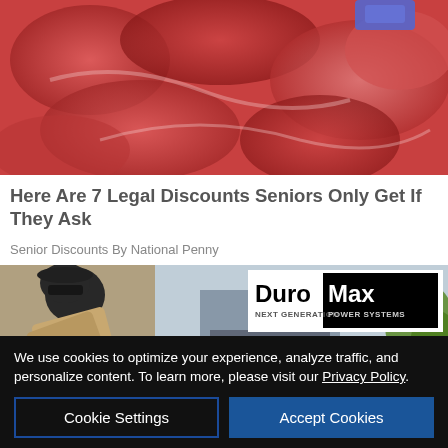[Figure (photo): Close-up photo of raw red meat cuts with a blue gloved hand visible at top right]
Here Are 7 Legal Discounts Seniors Only Get If They Ask
Senior Discounts By National Penny
[Figure (photo): Advertisement banner showing a person bending over near a building, DuroMax Next Generation Power Systems logo, and a green Commercial Real Estate Loans banner with Redwood Credit Union logo and Equal Housing Lender text]
We use cookies to optimize your experience, analyze traffic, and personalize content. To learn more, please visit our Privacy Policy.
Cookie Settings
Accept Cookies